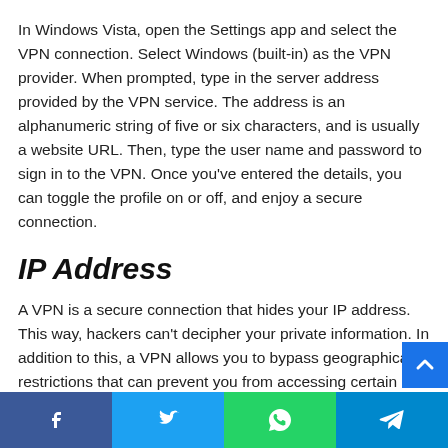In Windows Vista, open the Settings app and select the VPN connection. Select Windows (built-in) as the VPN provider. When prompted, type in the server address provided by the VPN service. The address is an alphanumeric string of five or six characters, and is usually a website URL. Then, type the user name and password to sign in to the VPN. Once you've entered the details, you can toggle the profile on or off, and enjoy a secure connection.
IP Address
A VPN is a secure connection that hides your IP address. This way, hackers can't decipher your private information. In addition to this, a VPN allows you to bypass geographical restrictions that can prevent you from accessing certain sites.
Social share bar: Facebook, Twitter, WhatsApp, Telegram